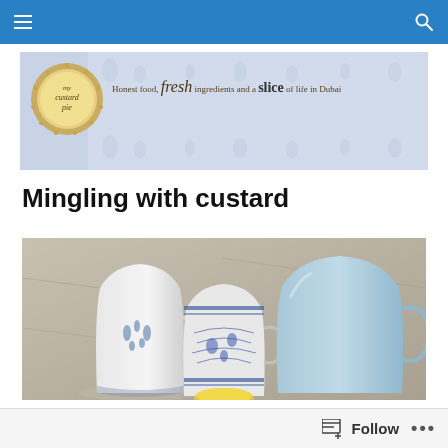Navigation bar with hamburger menu and search icon
[Figure (illustration): My Custard Pie blog banner with logo circle and tagline: Honest food, fresh ingredients and a slice of life in Dubai. Blue food pattern background.]
Mingling with custard
[Figure (photo): Photo of three ceramic pitchers/jugs arranged together: a white one with blue floral pattern on the left, a blue and white transfer-print jug in the middle, and a plain light blue jug on the right. Background is blurred stone or marble surface.]
Follow ...